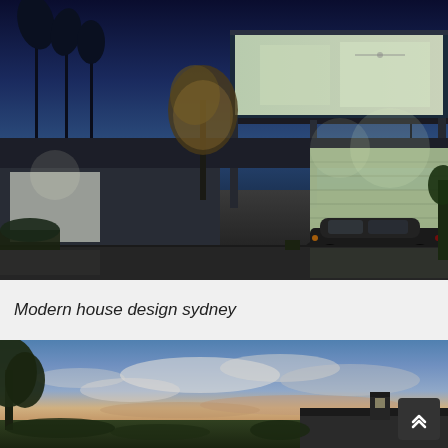[Figure (photo): Night-time photo of a modern luxury house exterior with illuminated facade, palm trees in background, dark blue dusk sky, a dark sports car parked near the garage, warm interior lighting visible through large glass windows]
Modern house design sydney
[Figure (photo): Exterior photo of a modern house at dusk with dramatic colourful sky featuring blue and pink clouds, trees on left, flat roof modern architecture visible at lower right]